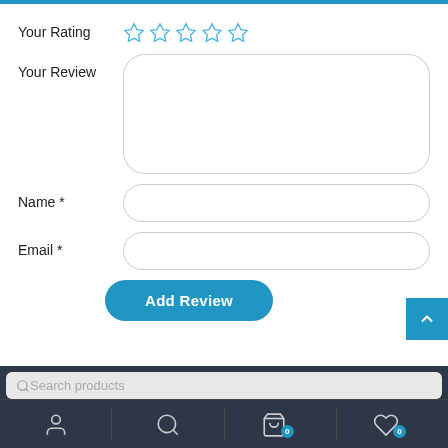Your Rating
Your Review
Name *
Email *
Add Review
Search products